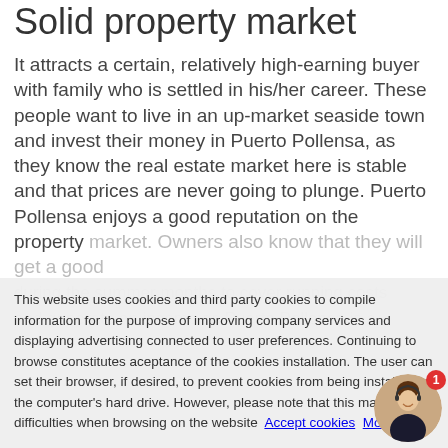Solid property market
It attracts a certain, relatively high-earning buyer with family who is settled in his/her career. These people want to live in an up-market seaside town and invest their money in Puerto Pollensa, as they know the real estate market here is stable and that prices are never going to plunge. Puerto Pollensa enjoys a good reputation on the property market. Owners also know that they will get a good [return during the summer months to cover running costs and generate an income as Puerto Pollensa is a...]
This website uses cookies and third party cookies to compile information for the purpose of improving company services and displaying advertising connected to user preferences. Continuing to browse constitutes aceptance of the cookies installation. The user can set their browser, if desired, to prevent cookies from being installed on the computer's hard drive. However, please note that this may cause difficulties when browsing on the website  Accept cookies  More Info